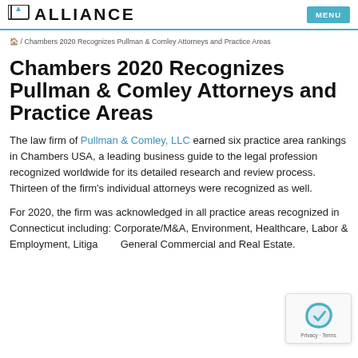IA ALLIANCE | MENU
🏠 / Chambers 2020 Recognizes Pullman & Comley Attorneys and Practice Areas
Chambers 2020 Recognizes Pullman & Comley Attorneys and Practice Areas
The law firm of Pullman & Comley, LLC earned six practice area rankings in Chambers USA, a leading business guide to the legal profession recognized worldwide for its detailed research and review process. Thirteen of the firm's individual attorneys were recognized as well.
For 2020, the firm was acknowledged in all practice areas recognized in Connecticut including: Corporate/M&A, Environment, Healthcare, Labor & Employment, Litigation: General Commercial and Real Estate.